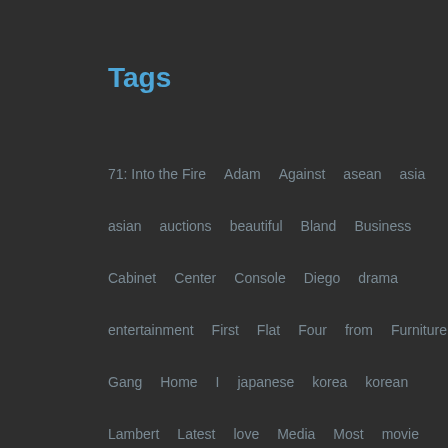Tags
71: Into the Fire  Adam  Against  asean  asia
asian  auctions  beautiful  Bland  Business
Cabinet  Center  Console  Diego  drama
entertainment  First  Flat  Four  from  Furniture
Gang  Home  I  japanese  korea  korean
Lambert  Latest  love  Media  Most  movie
News  Partner  Plan  popular  Screen  Stand
Storage  throwing  video  Wood  you  YouTube